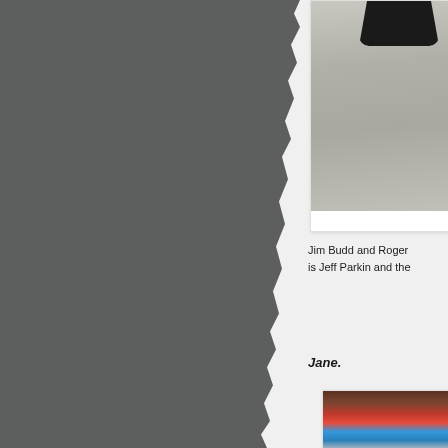[Figure (photo): Left panel showing torn paper edge effect with dark grey background]
[Figure (photo): Top photo card showing a racing car on asphalt road surface, partial view from above]
Jim Budd and Roger... is Jeff Parkin and the...
Jane.
[Figure (photo): Bottom photo card showing a racing car or driver with red and blue helmet/bodywork colors]